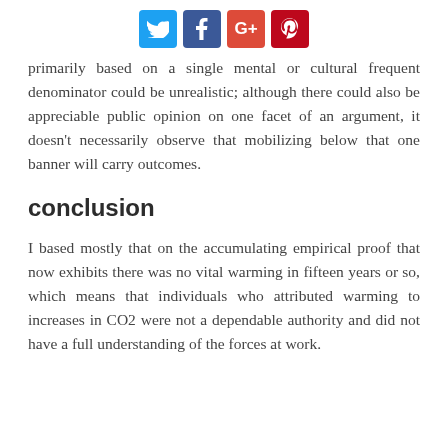[Social share icons: Twitter, Facebook, Google+, Pinterest]
primarily based on a single mental or cultural frequent denominator could be unrealistic; although there could also be appreciable public opinion on one facet of an argument, it doesn't necessarily observe that mobilizing below that one banner will carry outcomes.
conclusion
I based mostly that on the accumulating empirical proof that now exhibits there was no vital warming in fifteen years or so, which means that individuals who attributed warming to increases in CO2 were not a dependable authority and did not have a full understanding of the forces at work.